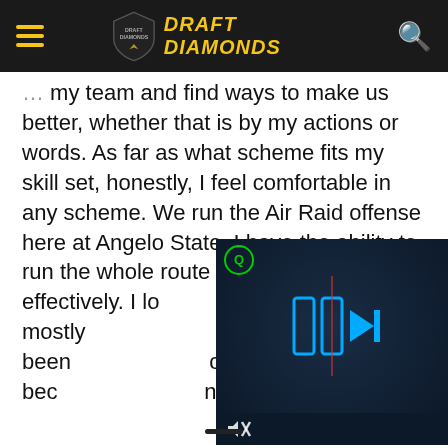DRAFT DIAMONDS
my team and find ways to make us better, whether that is by my actions or words. As far as what scheme fits my skill set, honestly, I feel comfortable in any scheme. We run the Air Raid offense here at Angelo State. I have the ability to run the whole route [tree and block in the running] game effectively. I lo[ve playing outside and] have played mostly o[utside in my career] here but I have been [working hard on my] craft in the slot beca[use I feel it is key at the] next level. To get on
[Figure (screenshot): Video player overlay showing a dark blue background with glowing blue play/pause button icons and a skip forward button. A mute icon is visible in the bottom left of the video player.]